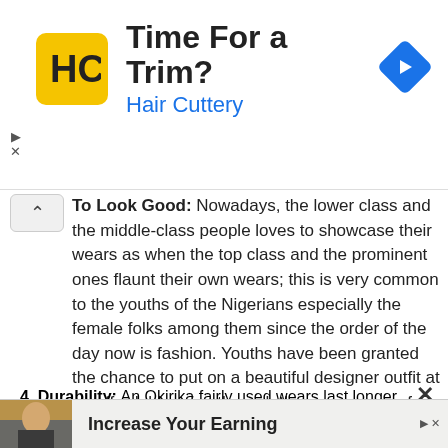[Figure (logo): Hair Cuttery advertisement banner with HC yellow logo, text 'Time For a Trim?' and 'Hair Cuttery', blue navigation arrow icon on right]
To Look Good: Nowadays, the lower class and the middle-class people loves to showcase their wears as when the top class and the prominent ones flaunt their own wears; this is very common to the youths of the Nigerians especially the female folks among them since the order of the day now is fashion. Youths have been granted the chance to put on a beautiful designer outfit at an affordable price through the emergence of Bend Down fairly used wears and this is one of the reasons bale business is considered lucrative.
Durability: An Okirika fairly used wears last longer when compared to the new ones. The
[Figure (photo): Bottom advertisement banner with photo of a person, text 'Increase Your Earning']